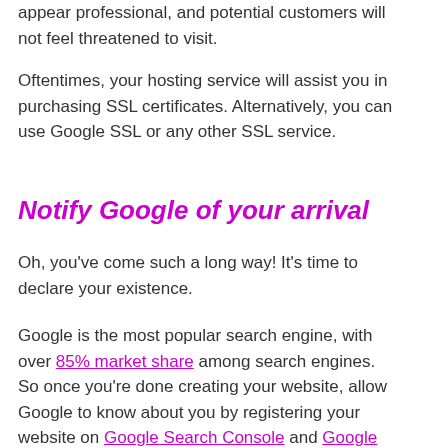appear professional, and potential customers will not feel threatened to visit.
Oftentimes, your hosting service will assist you in purchasing SSL certificates. Alternatively, you can use Google SSL or any other SSL service.
Notify Google of your arrival
Oh, you've come such a long way! It's time to declare your existence.
Google is the most popular search engine, with over 85% market share among search engines. So once you're done creating your website, allow Google to know about you by registering your website on Google Search Console and Google